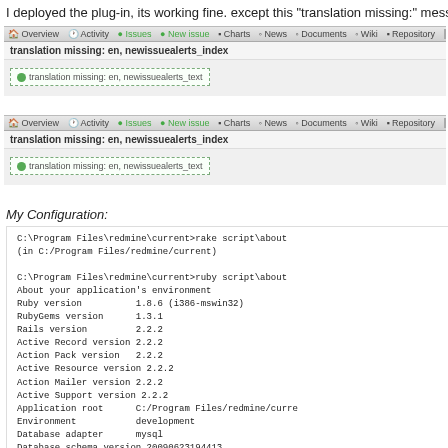I deployed the plug-in, its working fine. except this "translation missing:" message
[Figure (screenshot): Screenshot of Redmine project navigation bar with 'translation missing: en, newissuealerts_index' heading and a dashed box showing 'translation missing: en, newissuealerts_text' (first instance)]
[Figure (screenshot): Screenshot of Redmine project navigation bar with 'translation missing: en, newissuealerts_index' heading and a dashed box showing 'translation missing: en, newissuealerts_text' (second instance)]
My Configuration:
C:\Program Files\redmine\current>rake script\about
(in C:/Program Files/redmine/current)

C:\Program Files\redmine\current>ruby script\about
About your application's environment
Ruby version          1.8.6 (i386-mswin32)
RubyGems version      1.3.1
Rails version         2.2.2
Active Record version 2.2.2
Action Pack version   2.2.2
Active Resource version 2.2.2
Action Mailer version 2.2.2
Active Support version 2.2.2
Application root      C:/Program Files/redmine/curre
Environment           development
Database adapter      mysql
Database schema version 20090623194413